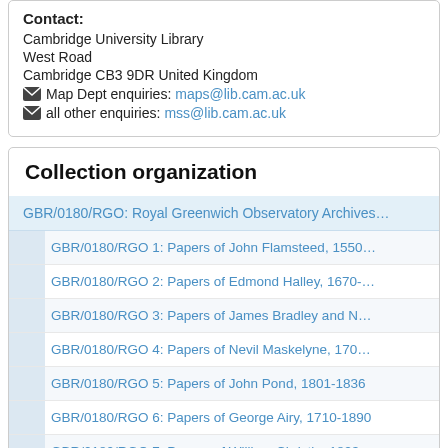Contact:
Cambridge University Library
West Road
Cambridge CB3 9DR United Kingdom
✉ Map Dept enquiries: maps@lib.cam.ac.uk
✉ all other enquiries: mss@lib.cam.ac.uk
Collection organization
GBR/0180/RGO: Royal Greenwich Observatory Archives…
GBR/0180/RGO 1: Papers of John Flamsteed, 1550…
GBR/0180/RGO 2: Papers of Edmond Halley, 1670-…
GBR/0180/RGO 3: Papers of James Bradley and N…
GBR/0180/RGO 4: Papers of Nevil Maskelyne, 170…
GBR/0180/RGO 5: Papers of John Pond, 1801-1836
GBR/0180/RGO 6: Papers of George Airy, 1710-1890
GBR/0180/RGO 7: Papers of William Christie, 1823…